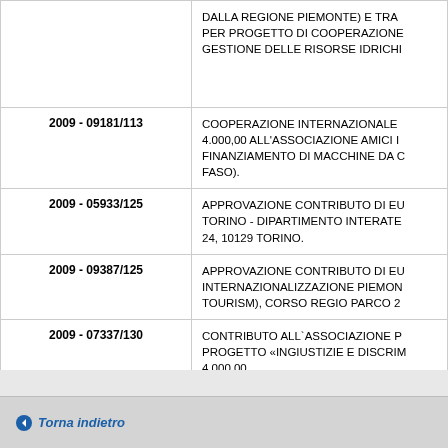| ID | Descrizione |
| --- | --- |
|  | DALLA REGIONE PIEMONTE) E TRA... PER PROGETTO DI COOPERAZIONE... GESTIONE DELLE RISORSE IDRICH... |
| 2009 - 09181/113 | COOPERAZIONE INTERNAZIONALE... 4.000,00 ALL'ASSOCIAZIONE AMICI I... FINANZIAMENTO DI MACCHINE DA C... FASO). |
| 2009 - 05933/125 | APPROVAZIONE CONTRIBUTO DI EU... TORINO - DIPARTIMENTO INTERATE... 24, 10129 TORINO. |
| 2009 - 09387/125 | APPROVAZIONE CONTRIBUTO DI EU... INTERNAZIONALIZZAZIONE PIEMON... TOURISM), CORSO REGIO PARCO 2... |
| 2009 - 07337/130 | CONTRIBUTO ALL`ASSOCIAZIONE P... PROGETTO «INGIUSTIZIE E DISCRI M... 4.000,00. |
Torna indietro